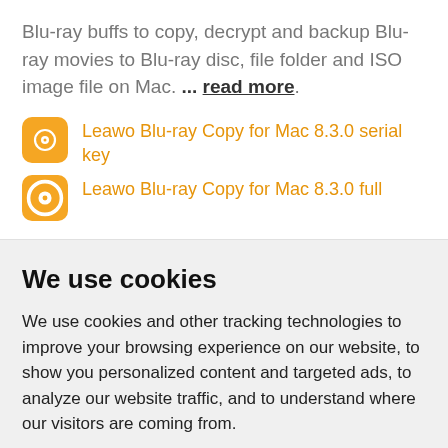Blu-ray buffs to copy, decrypt and backup Blu-ray movies to Blu-ray disc, file folder and ISO image file on Mac. ... read more.
Leawo Blu-ray Copy for Mac 8.3.0 serial key
Leawo Blu-ray Copy for Mac 8.3.0 full
We use cookies
We use cookies and other tracking technologies to improve your browsing experience on our website, to show you personalized content and targeted ads, to analyze our website traffic, and to understand where our visitors are coming from.
I agree | Change my preferences